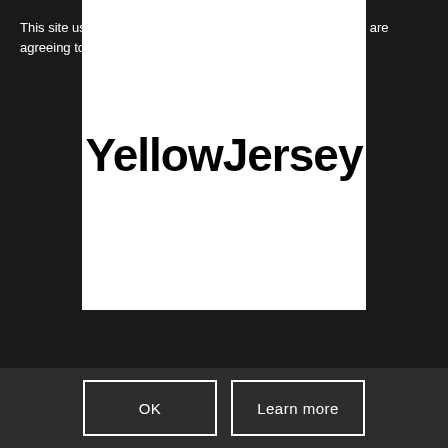[Figure (logo): YellowJersey logo — bold black text on white background]
This site uses cookies. By continuing to browse the site, you are agreeing to our use of cookies.
OK
Learn more